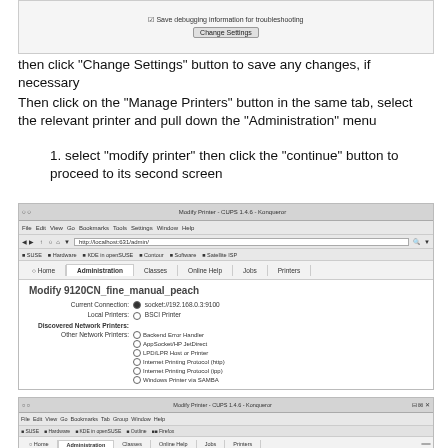[Figure (screenshot): Top portion of a CUPS settings dialog showing a checkbox 'Save debugging information for troubleshooting' and a 'Change Settings' button]
then click "Change Settings" button to save any changes, if necessary
Then click on the "Manage Printers" button in the same tab, select the relevant printer and pull down the "Administration" menu
1. select "modify printer" then click the "continue" button to proceed to its second screen
[Figure (screenshot): CUPS web interface screenshot showing Modify Printer page for 9120CN_fine_manual_peach with connection options including socket://192.168.0.3:9100 selected, BSCI Printer local printer, and Other Network Printers options including Backend Error Handler, AppSocket/HP JetDirect, LPD/LPR Host or Printer, Internet Printing Protocol (http), Internet Printing Protocol (ipp), Windows Printer via SAMBA, with a Continue button]
[Figure (screenshot): Bottom portion showing another CUPS Modify Printer browser window (second screen)]